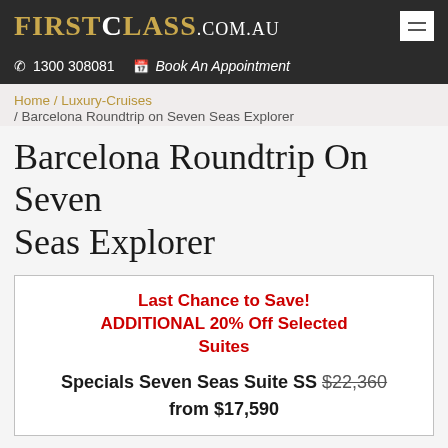FIRSTCLASS.com.au  ☰  ✆ 1300 308081  Book An Appointment
Home / Luxury-Cruises / Barcelona Roundtrip on Seven Seas Explorer
Barcelona Roundtrip On Seven Seas Explorer
Last Chance to Save! ADDITIONAL 20% Off Selected Suites

Specials Seven Seas Suite SS $22,360 from $17,590